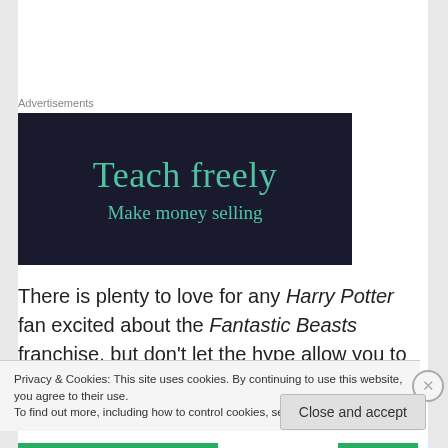Advertisements
[Figure (illustration): Dark navy advertisement banner reading 'Teach freely' in large teal serif font and 'Make money selling' in smaller teal serif font below]
There is plenty to love for any Harry Potter fan excited about the Fantastic Beasts franchise, but don't let the hype allow you to overlook another major book-to-film adaptation hitting theaters in
Privacy & Cookies: This site uses cookies. By continuing to use this website, you agree to their use.
To find out more, including how to control cookies, see here: Cookie Policy
Close and accept